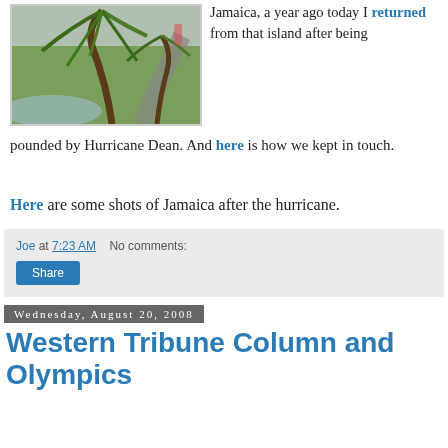[Figure (photo): Photo of a palm tree bending in wind with green grass and a path in a rainy scene, likely Jamaica during or after Hurricane Dean.]
Jamaica, a year ago today I returned from that island after being pounded by Hurricane Dean. And here is how we kept in touch.
Here are some shots of Jamaica after the hurricane.
Joe at 7:23 AM    No comments:
Share
Wednesday, August 20, 2008
Western Tribune Column and Olympics